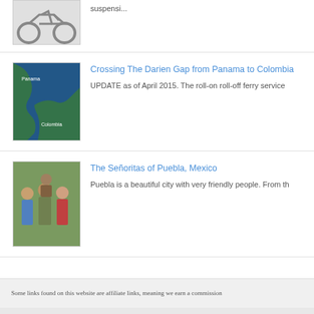[Figure (photo): Motorcycle image (partial, top of page)]
suspensi...
[Figure (photo): Aerial/satellite map image of Darien Gap between Panama and Colombia]
Crossing The Darien Gap from Panama to Colombia
UPDATE as of April 2015. The roll-on roll-off ferry service
[Figure (photo): Group photo of people in Puebla, Mexico]
The Señoritas of Puebla, Mexico
Puebla is a beautiful city with very friendly people. From th
Some links found on this website are affiliate links, meaning we earn a commission
© 2020 THEADVENTUREBEGINS.TV. All Ri